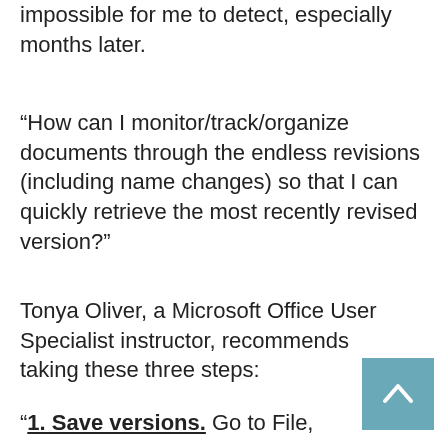impossible for me to detect, especially months later.
“How can I monitor/track/organize documents through the endless revisions (including name changes) so that I can quickly retrieve the most recently revised version?”
Tonya Oliver, a Microsoft Office User Specialist instructor, recommends taking these three steps:
“1. Save versions. Go to File,